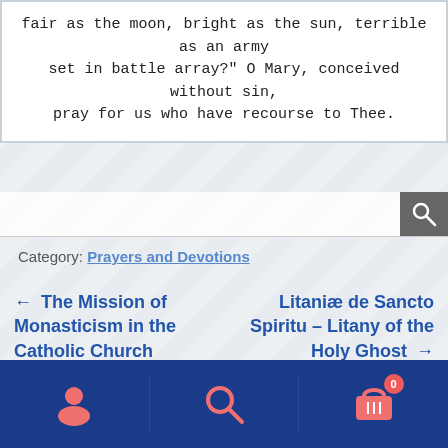fair as the moon, bright as the sun, terrible as an army set in battle array?" O Mary, conceived without sin, pray for us who have recourse to Thee.
Category: Prayers and Devotions
← The Mission of Monasticism in the Catholic Church
Litaniæ de Sancto Spiritu – Litany of the Holy Ghost →
User icon | Search icon | Cart icon with badge 0